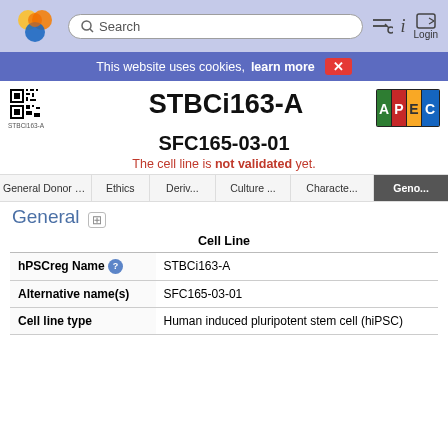[Figure (screenshot): Navigation bar with hPSCreg logo, search box, and login/info icons]
This website uses cookies, learn more X
STBCi163-A
[Figure (other): APEC badge/logo coloured squares]
SFC165-03-01
The cell line is not validated yet.
General Donor In... | Ethics | Deriv... | Culture ... | Characte... | Geno...
General
|  | Cell Line |
| --- | --- |
| hPSCreg Name ⓘ | STBCi163-A |
| Alternative name(s) | SFC165-03-01 |
| Cell line type | Human induced pluripotent stem cell (hiPSC) |